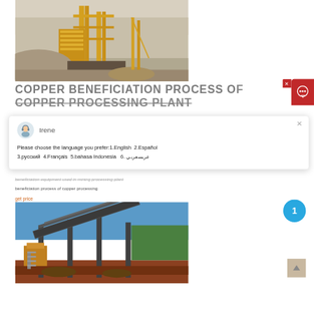[Figure (photo): Mining/quarry processing plant with yellow heavy machinery, conveyor belts, and rocky terrain]
COPPER BENEFICIATION PROCESS OF COPPER PROCESSING PLANT
beneficiation equipment used in mining processing plant
beneficiation process of copper processing
get price
[Figure (photo): Industrial crushing/screening plant with conveyor belt structure on red soil terrain]
[Figure (screenshot): Live chat popup with agent Irene. Text: Please choose the language you prefer:1.English 2.Español 3.русский 4.Français 5.bahasa Indonesia 6. عربسعربي]